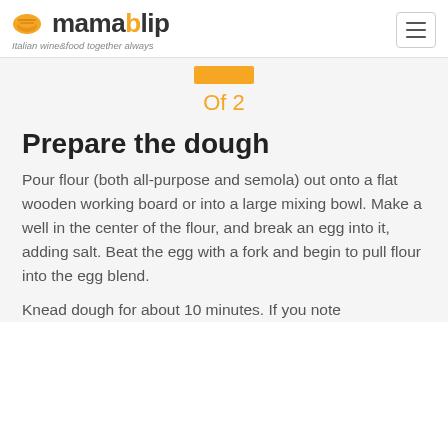mamablip — Italian wine&food together always
[Figure (other): Step indicator showing active step bar in orange]
Of 2
Prepare the dough
Pour flour (both all-purpose and semola) out onto a flat wooden working board or into a large mixing bowl. Make a well in the center of the flour, and break an egg into it, adding salt. Beat the egg with a fork and begin to pull flour into the egg blend.
Knead dough for about 10 minutes. If you note